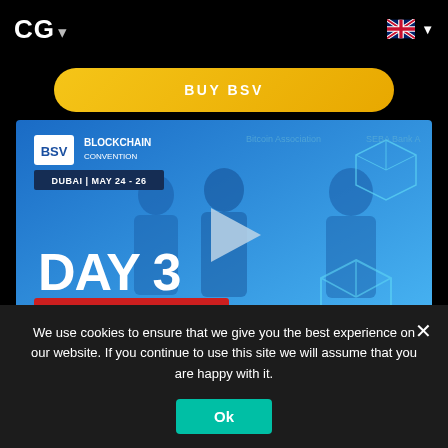CG ▾
BUY BSV
[Figure (screenshot): BSV Blockchain Convention Dubai May 24-26 Day 3 Livestream video thumbnail with play button, showing three men on stage and blockchain cube graphics on blue background]
We use cookies to ensure that we give you the best experience on our website. If you continue to use this site we will assume that you are happy with it.
Ok